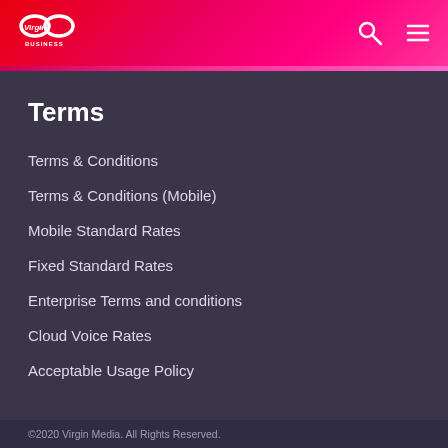[Figure (logo): Virgin Media Business logo - infinity symbol with Virgin script and 'BUSINESS' text below, white on red/pink gradient header]
Terms
Terms & Conditions
Terms & Conditions (Mobile)
Mobile Standard Rates
Fixed Standard Rates
Enterprise Terms and conditions
Cloud Voice Rates
Acceptable Usage Policy
©2020 Virgin Media. All Rights Reserved.